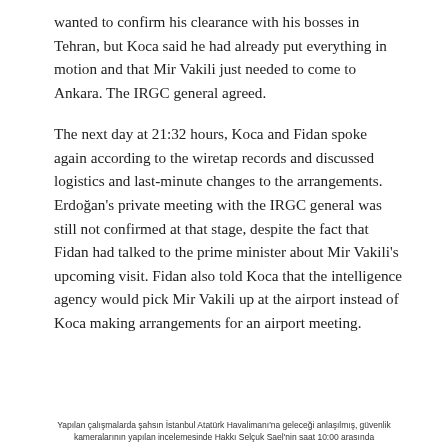wanted to confirm his clearance with his bosses in Tehran, but Koca said he had already put everything in motion and that Mir Vakili just needed to come to Ankara. The IRGC general agreed.
The next day at 21:32 hours, Koca and Fidan spoke again according to the wiretap records and discussed logistics and last-minute changes to the arrangements. Erdoğan's private meeting with the IRGC general was still not confirmed at that stage, despite the fact that Fidan had talked to the prime minister about Mir Vakili's upcoming visit. Fidan also told Koca that the intelligence agency would pick Mir Vakili up at the airport instead of Koca making arrangements for an airport meeting.
Yapılan çalışmalarda şahsın İstanbul Atatürk Havalimanı'na geleceği anlaşılmış, güvenlik kameralarının yapılan incelemesinde Hakkı Selçuk Sael'nin saat 10:00 arasında